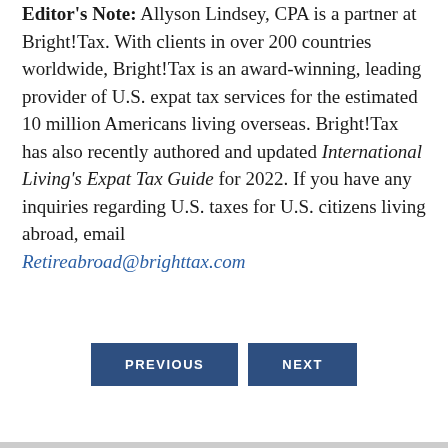Editor's Note: Allyson Lindsey, CPA is a partner at Bright!Tax. With clients in over 200 countries worldwide, Bright!Tax is an award-winning, leading provider of U.S. expat tax services for the estimated 10 million Americans living overseas. Bright!Tax has also recently authored and updated International Living's Expat Tax Guide for 2022. If you have any inquiries regarding U.S. taxes for U.S. citizens living abroad, email Retireabroad@brighttax.com
PREVIOUS | NEXT